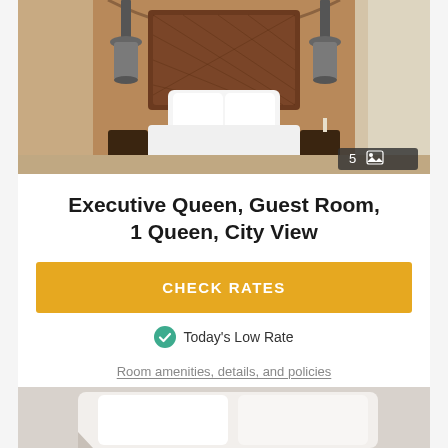[Figure (photo): Hotel room photo showing a queen bed with white linens, ornate brown carved headboard, dark pendant lamps on either side, warm wood-toned walls, with a photo count badge showing '5' in the bottom right corner]
Executive Queen, Guest Room, 1 Queen, City View
CHECK RATES
Today's Low Rate
Room amenities, details, and policies
[Figure (photo): Partial view of another hotel room at the bottom of the page, showing white/light-colored bedding]